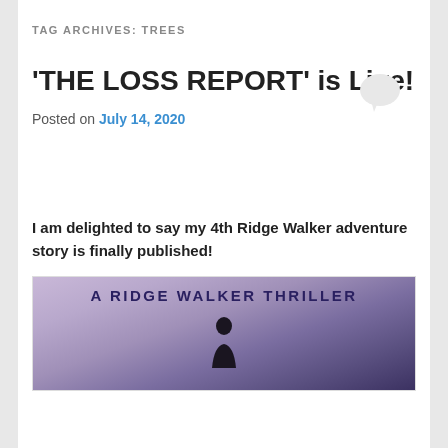TAG ARCHIVES: TREES
'THE LOSS REPORT' is Live!
Posted on July 14, 2020
I am delighted to say my 4th Ridge Walker adventure story is finally published!
[Figure (illustration): Book cover image showing 'A RIDGE WALKER THRILLER' text with a silhouette of a person against a purple/lavender sky background]